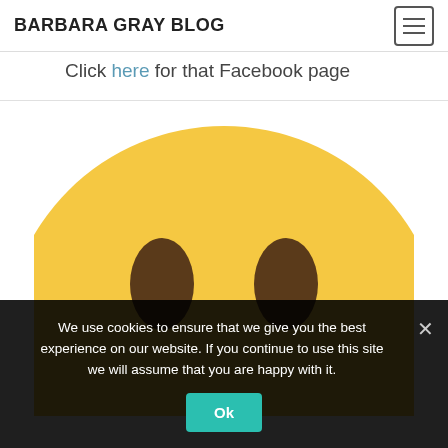BARBARA GRAY BLOG
Click here for that Facebook page
[Figure (illustration): Large yellow smiley face emoji showing just the top half (eyes visible, no mouth visible), cropped at bottom edge of content area]
We use cookies to ensure that we give you the best experience on our website. If you continue to use this site we will assume that you are happy with it.
Ok